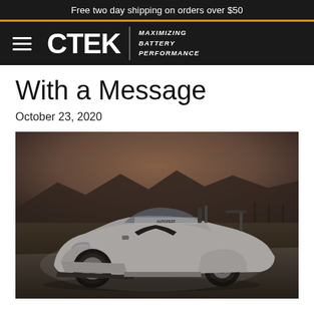Free two day shipping on orders over $50
[Figure (logo): CTEK logo with hamburger menu icon and tagline MAXIMIZING BATTERY PERFORMANCE on black navigation bar]
With a Message
October 23, 2020
[Figure (photo): White modified Honda S2000 sports car with wide body kit, roll bar, and racing windshield banner, parked on a gravel road at dusk with mountains in the background]